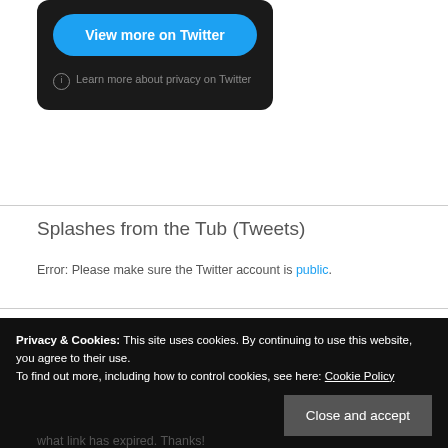[Figure (screenshot): Twitter embedded widget with dark background showing a 'View more on Twitter' blue button and a 'Learn more about privacy on Twitter' link with info icon]
Splashes from the Tub (Tweets)
Error: Please make sure the Twitter account is public.
Privacy & Cookies: This site uses cookies. By continuing to use this website, you agree to their use. To find out more, including how to control cookies, see here: Cookie Policy
what link has expired. Thanks!